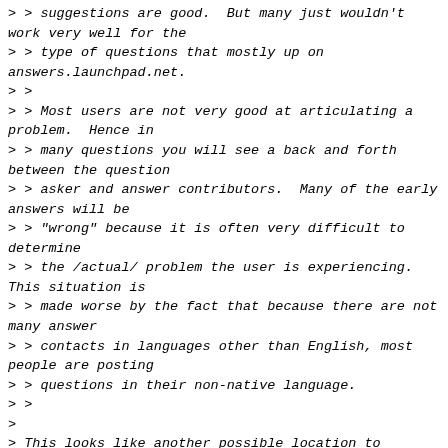> > suggestions are good.  But many just wouldn't work very well for the
> > type of questions that mostly up on answers.launchpad.net.
> >
> > Most users are not very good at articulating a problem.  Hence in
> > many questions you will see a back and forth between the question
> > asker and answer contributors.  Many of the early answers will be
> > "wrong" because it is often very difficult to determine
> > the /actual/ problem the user is experiencing.  This situation is
> > made worse by the fact that because there are not many answer
> > contacts in languages other than English, most people are posting
> > questions in their non-native language.
> >
>
> This looks like another possible location to implement the
> sub-channels and meta-channels. Again, permission management becomes
> an issue.
>
>
> > What I do think needs to happen, is that we need to